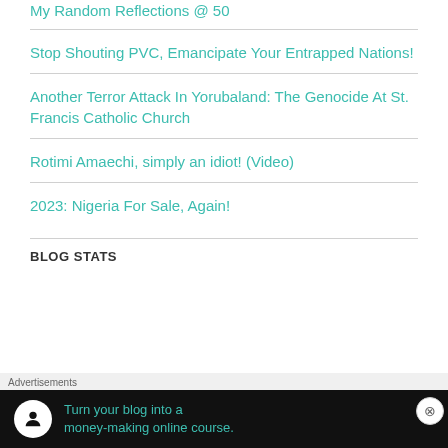My Random Reflections @ 50
Stop Shouting PVC, Emancipate Your Entrapped Nations!
Another Terror Attack In Yorubaland: The Genocide At St. Francis Catholic Church
Rotimi Amaechi, simply an idiot! (Video)
2023: Nigeria For Sale, Again!
BLOG STATS
[Figure (other): Advertisement banner: Turn your blog into a money-making online course.]